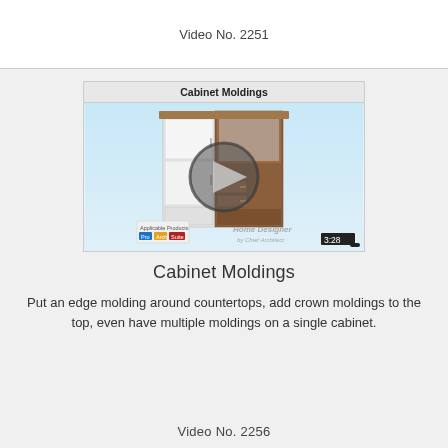Video No. 2251
[Figure (screenshot): Video thumbnail showing Cabinet Moldings title bar, a 3D rendered cabinet with wood and white finishes, a play button overlay, product badges for Pro/Arch/Suite, Home Designer by Chief Architect logo, and a 3:28 duration badge.]
Cabinet Moldings
Put an edge molding around countertops, add crown moldings to the top, even have multiple moldings on a single cabinet.
Video No. 2256